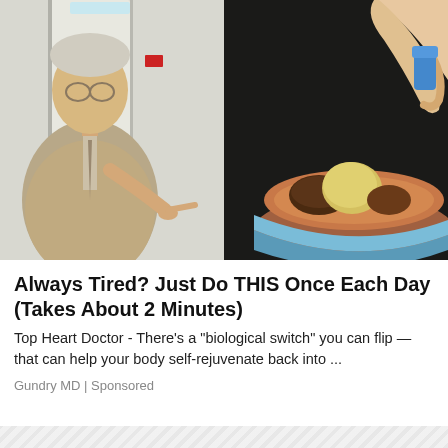[Figure (photo): Split composite image: left side shows an older white-haired man in a beige suit and glasses pointing toward the right, standing in a hospital corridor; right side shows a close-up of a hand placing food items into a bowl filled with sand/soil-like material with a blue-trimmed base.]
Always Tired? Just Do THIS Once Each Day (Takes About 2 Minutes)
Top Heart Doctor - There’s a “biological switch” you can flip — that can help your body self-rejuvenate back into ...
Gundry MD | Sponsored